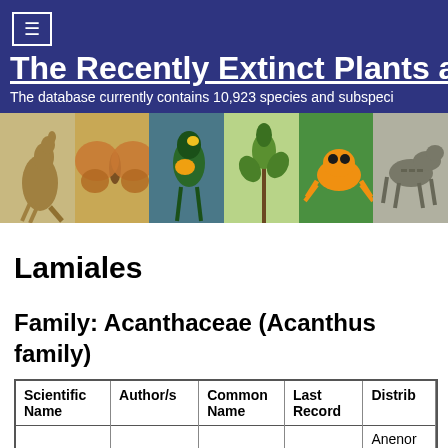The Recently Extinct Plants and Animals Database. The database currently contains 10,923 species and subspecies
[Figure (photo): Strip of six animal/plant photos: kangaroo illustration, moth illustration, parrot illustration, plant illustration, golden poison frog photo, thylacine photo]
Lamiales
Family: Acanthaceae (Acanthus family)
| Scientific Name | Author/s | Common Name | Last Record | Distribution |
| --- | --- | --- | --- | --- |
|  |  |  |  | Anenor |